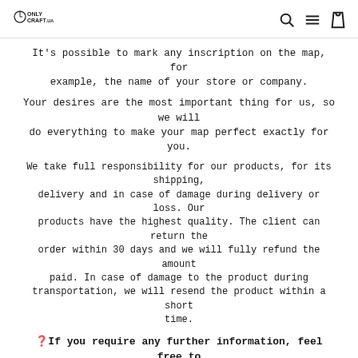ONLYCRAFT.UA
It’s possible to mark any inscription on the map, for example, the name of your store or company.
Your desires are the most important thing for us, so we will do everything to make your map perfect exactly for you.
We take full responsibility for our products, for its shipping, delivery and in case of damage during delivery or loss. Our products have the highest quality. The client can return the order within 30 days and we will fully refund the amount paid. In case of damage to the product during transportation, we will resend the product within a short time.
❓ If you require any further information, feel free to contact me! With love and best wishes, OnlyCraftUA!